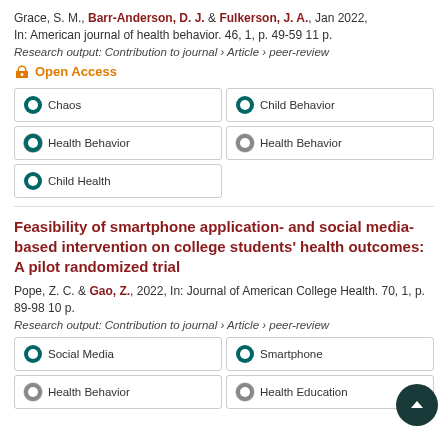Grace, S. M., Barr-Anderson, D. J. & Fulkerson, J. A., Jan 2022, In: American journal of health behavior. 46, 1, p. 49-59 11 p.
Research output: Contribution to journal › Article › peer-review
Open Access
100% Chaos
100% Child Behavior
100% Health Behavior
90% Health Behavior
100% Child Health
Feasibility of smartphone application- and social media-based intervention on college students' health outcomes: A pilot randomized trial
Pope, Z. C. & Gao, Z., 2022, In: Journal of American College Health. 70, 1, p. 89-98 10 p.
Research output: Contribution to journal › Article › peer-review
100% Social Media
100% Smartphone
90% Health Behavior
90% Health Education